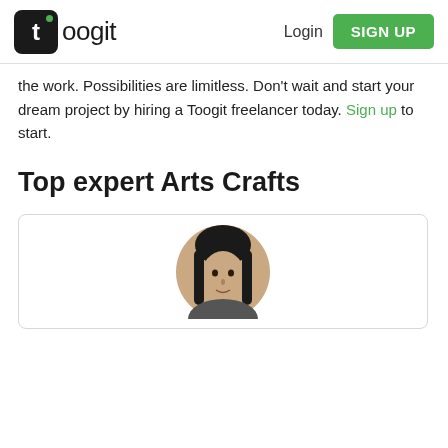toogit | Login | SIGN UP
the work. Possibilities are limitless. Don't wait and start your dream project by hiring a Toogit freelancer today. Sign up to start.
Top expert Arts Crafts
[Figure (photo): Profile photo of a woman shown in a circular crop, within a card with a light border.]